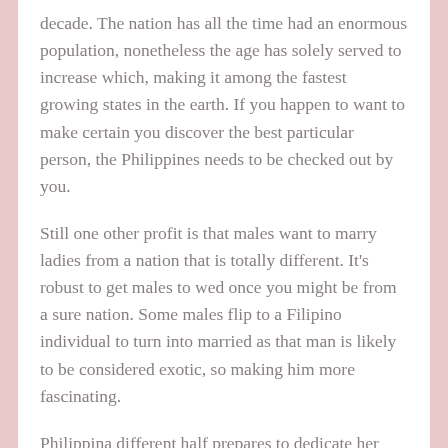decade. The nation has all the time had an enormous population, nonetheless the age has solely served to increase which, making it among the fastest growing states in the earth. If you happen to want to make certain you discover the best particular person, the Philippines needs to be checked out by you.
Still one other profit is that males want to marry ladies from a nation that is totally different. It's robust to get males to wed once you might be from a sure nation. Some males flip to a Filipino individual to turn into married as that man is likely to be considered exotic, so making him more fascinating.
Philippina different half prepares to dedicate her alternative and feelings to the one that she decides on. Native area females create fast mates, excellent wives, in addition to remarkable